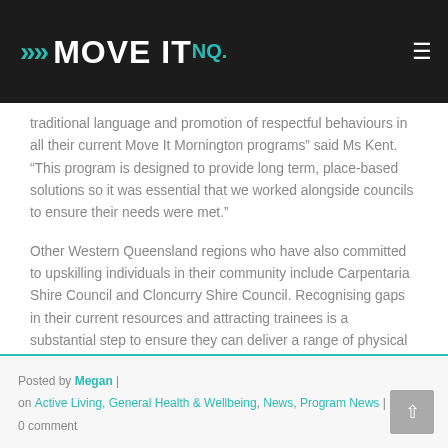MOVE IT NQ.
traditional language and promotion of respectful behaviours in all their current Move It Mornington programs” said Ms Kent. “This program is designed to provide long term, place-based solutions so it was essential that we worked alongside councils to ensure their needs were met.”
Other Western Queensland regions who have also committed to upskilling individuals in their community include Carpentaria Shire Council and Cloncurry Shire Council. Recognising gaps in their current resources and attracting trainees is a substantial step to ensure they can deliver a range of physical activity sessions into the future.
Posted by Megan | on Active Living, General Health & Wellbeing, News, Program News | 0 comment